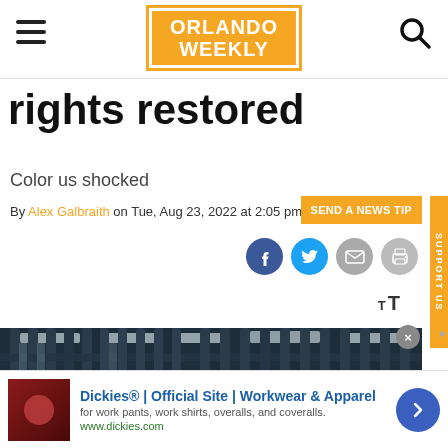Orlando Weekly
rights restored
Color us shocked
By Alex Galbraith on Tue, Aug 23, 2022 at 2:05 pm
[Figure (photo): Prison bars interior view, dark blue-grey tones]
[Figure (other): Advertisement: Dickies® | Official Site | Workwear & Apparel — for work pants, work shirts, overalls, and coveralls. www.dickies.com]